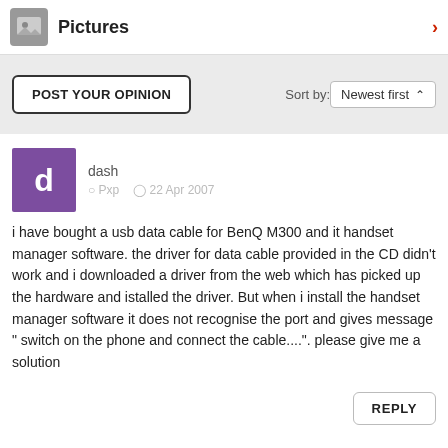Pictures
POST YOUR OPINION
Sort by: Newest first
dash   Pxp   22 Apr 2007
i have bought a usb data cable for BenQ M300 and it handset manager software. the driver for data cable provided in the CD didn't work and i downloaded a driver from the web which has picked up the hardware and istalled the driver. But when i install the handset manager software it does not recognise the port and gives message " switch on the phone and connect the cable....". please give me a solution
REPLY